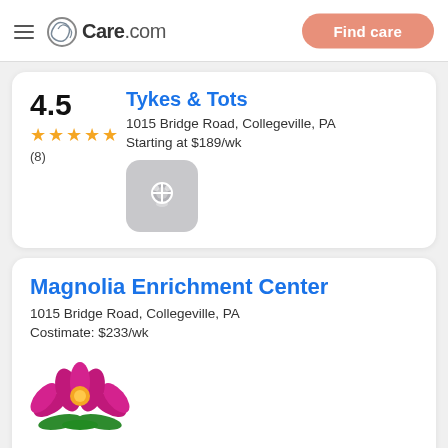Care.com | Find care
4.5 ★★★★★ (8) Tykes & Tots
1015 Bridge Road, Collegeville, PA
Starting at $189/wk
[Figure (logo): Placeholder ladybug icon with gray rounded square background]
Magnolia Enrichment Center
1015 Bridge Road, Collegeville, PA
Costimate: $233/wk
[Figure (logo): Magnolia Enrichment Center logo: stylized lotus flower with pink/magenta petals, orange/yellow sun center, green leaf base]
Description: